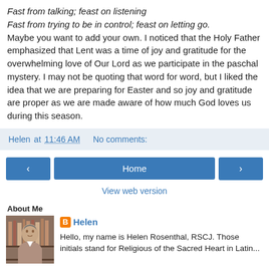Fast from talking; feast on listening
Fast from trying to be in control; feast on letting go.
Maybe you want to add your own. I noticed that the Holy Father emphasized that Lent was a time of joy and gratitude for the overwhelming love of Our Lord as we participate in the paschal mystery. I may not be quoting that word for word, but I liked the idea that we are preparing for Easter and so joy and gratitude are proper as we are made aware of how much God loves us during this season.
Helen at 11:46 AM   No comments:
[Figure (screenshot): Navigation bar with left arrow button, Home button, and right arrow button]
View web version
About Me
[Figure (photo): Profile photo of Helen Rosenthal]
Helen
Hello, my name is Helen Rosenthal, RSCJ. Those initials stand for Religious of the Sacred Heart in Latin...